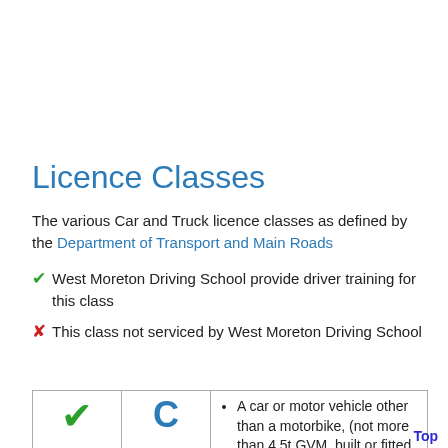Licence Classes
The various Car and Truck licence classes as defined by the Department of Transport and Main Roads
✔ West Moreton Driving School provide driver training for this class
✘ This class not serviced by West Moreton Driving School
|  | C | Description |
| --- | --- | --- |
| ✔ | C | A car or motor vehicle other than a motorbike, (not more than 4.5t GVM, built or fitted to carry no more than 12 adults, including... |